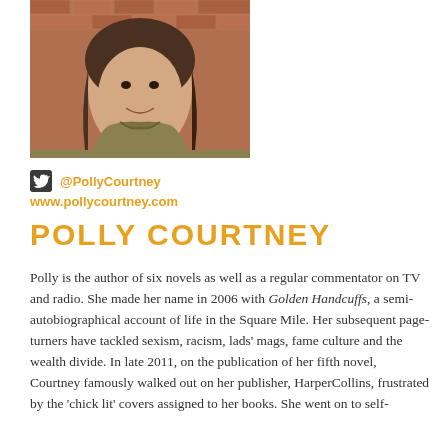[Figure (photo): Portrait photo of Polly Courtney, a woman with long brown hair, smiling, wearing a khaki jacket, against a brick wall background]
@PollyCourtney
www.pollycourtney.com
POLLY COURTNEY
Polly is the author of six novels as well as a regular commentator on TV and radio. She made her name in 2006 with Golden Handcuffs, a semi-autobiographical account of life in the Square Mile. Her subsequent page-turners have tackled sexism, racism, lads' mags, fame culture and the wealth divide. In late 2011, on the publication of her fifth novel, Courtney famously walked out on her publisher, HarperCollins, frustrated by the 'chick lit' covers assigned to her books. She went on to self-